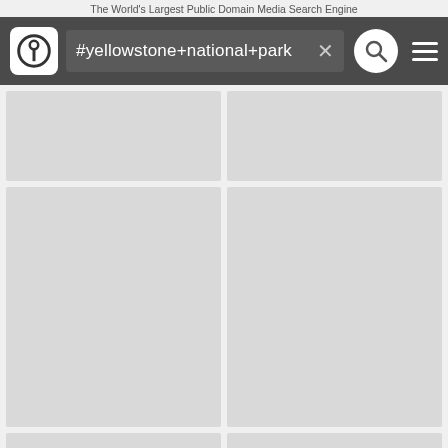The World's Largest Public Domain Media Search Engine
[Figure (screenshot): Mobile app search bar with logo, search field showing '#yellowstone+national+park', close button (x), search button (magnifying glass circle), and hamburger menu on dark gray background]
[Figure (screenshot): 2x3 grid of loading/placeholder image cells in light gray, with a pink share button in the bottom right corner]